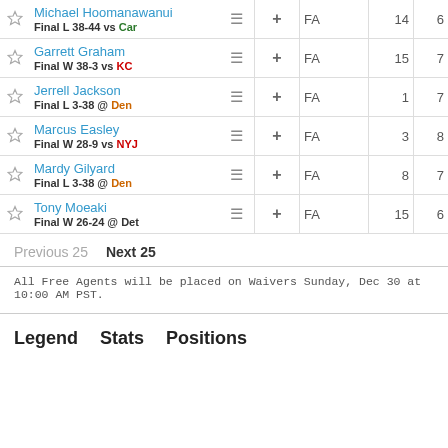|  | Player |  | + | FA | # | # |
| --- | --- | --- | --- | --- | --- | --- |
| ☆ | Michael Hoomanawanui / Final L 38-44 vs Car | ≡ | + | FA | 14 | 6 |
| ☆ | Garrett Graham / Final W 38-3 vs KC | ≡ | + | FA | 15 | 7 |
| ☆ | Jerrell Jackson / Final L 3-38 @ Den | ≡ | + | FA | 1 | 7 |
| ☆ | Marcus Easley / Final W 28-9 vs NYJ | ≡ | + | FA | 3 | 8 |
| ☆ | Mardy Gilyard / Final L 3-38 @ Den | ≡ | + | FA | 8 | 7 |
| ☆ | Tony Moeaki / Final W 26-24 @ Det | ≡ | + | FA | 15 | 6 |
Previous 25    Next 25
All Free Agents will be placed on Waivers Sunday, Dec 30 at 10:00 AM PST.
Legend    Stats    Positions